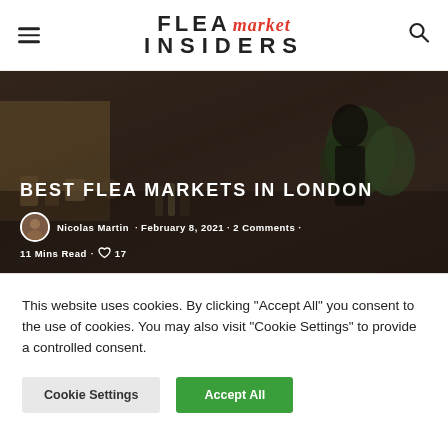FLEA market INSIDERS
[Figure (photo): Dark, atmospheric photo of a flea market stall with various objects, plants and people visible in background]
BEST FLEA MARKETS IN LONDON
Nicolas Martin · February 8, 2021 · 2 Comments · 11 Mins Read · ♡ 17
This website uses cookies. By clicking "Accept All" you consent to the use of cookies. You may also visit "Cookie Settings" to provide a controlled consent.
Cookie Settings   Accept All